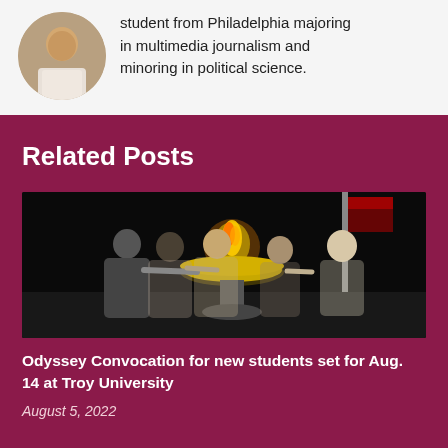student from Philadelphia majoring in multimedia journalism and minoring in political science.
Related Posts
[Figure (photo): Students gathered around a ceremonial flame bowl at what appears to be a convocation ceremony, with a flag in the background]
Odyssey Convocation for new students set for Aug. 14 at Troy University
August 5, 2022